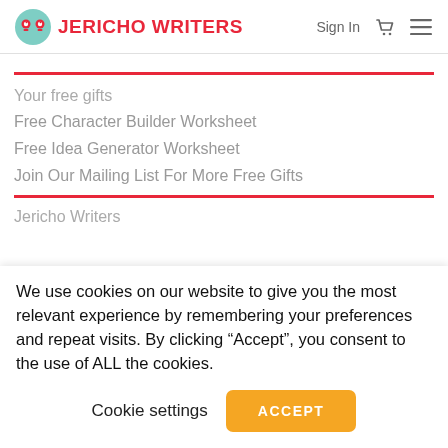JERICHO WRITERS | Sign In
Your free gifts
Free Character Builder Worksheet
Free Idea Generator Worksheet
Join Our Mailing List For More Free Gifts
Jericho Writers
We use cookies on our website to give you the most relevant experience by remembering your preferences and repeat visits. By clicking “Accept”, you consent to the use of ALL the cookies.
Cookie settings | ACCEPT